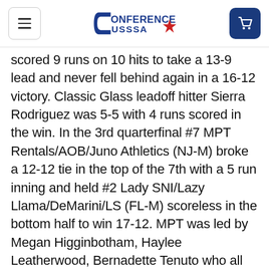Conference USSSA (logo)
scored 9 runs on 10 hits to take a 13-9 lead and never fell behind again in a 16-12 victory. Classic Glass leadoff hitter Sierra Rodriguez was 5-5 with 4 runs scored in the win. In the 3rd quarterfinal #7 MPT Rentals/AOB/Juno Athletics (NJ-M) broke a 12-12 tie in the top of the 7th with a 5 run inning and held #2 Lady SNI/Lazy Llama/DeMarini/LS (FL-M) scoreless in the bottom half to win 17-12. MPT was led by Megan Higginbotham, Haylee Leatherwood, Bernadette Tenuto who all had 4 hits and Higginbotham and Jenna Kreiser homered in the victory. In the last quarterfinal #1 Smash It Sports/Derby Girls/Easton (WA-M) out slugged Smash It Sports/Traders Reloaded (AR-A) 25-15 scoring in every inning and ending the game in the